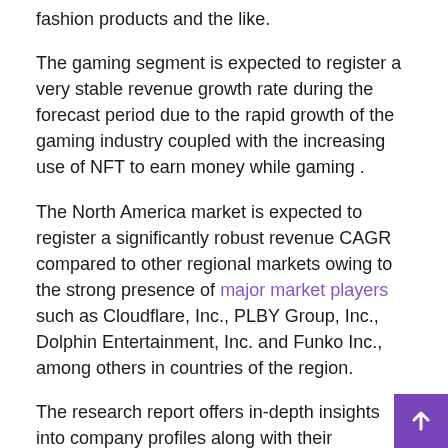fashion products and the like.
The gaming segment is expected to register a very stable revenue growth rate during the forecast period due to the rapid growth of the gaming industry coupled with the increasing use of NFT to earn money while gaming .
The North America market is expected to register a significantly robust revenue CAGR compared to other regional markets owing to the strong presence of major market players such as Cloudflare, Inc., PLBY Group, Inc., Dolphin Entertainment, Inc. and Funko Inc., among others in countries of the region.
The research report offers in-depth insights into company profiles along with their production values, production capacity, product portfolio, strategic plans such as mergers and acquisitions, joint ventures, collaborations, product launches and brand promotions, government and corporate agreements among others. The report further offers comprehensive SWOT